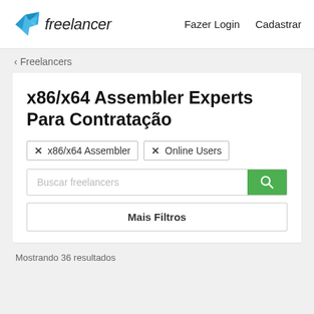Freelancer | Fazer Login | Cadastrar
‹ Freelancers
x86/x64 Assembler Experts Para Contratação
× x86/x64 Assembler  × Online Users
Buscar freelancers
Mais Filtros
Mostrando 36 resultados